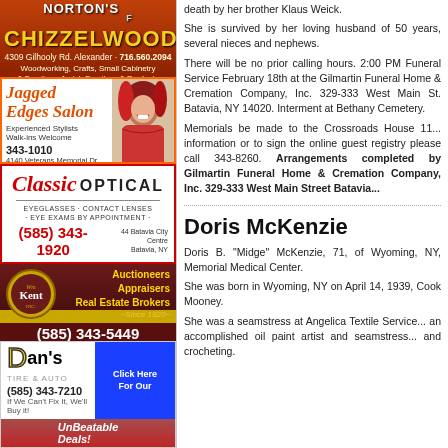[Figure (advertisement): Norton's Chizzelwood woodworking/crafts ad with Facebook icon, address 4309 Gilhooly Rd. Alexander, phone 716.560.2094]
[Figure (advertisement): Jagged Edges Salon ad with woman photo, phone 343-1010, address 4140 Veterans Memorial Dr]
[Figure (advertisement): Classic Optical ad, eyeglasses contact lenses eye exams, phone (585) 343-1920, 44 Batavia City Centre Batavia NY]
[Figure (advertisement): William Kent Inc. Auctioneers Appraisers Real Estate Brokers Since 1920, phone (585) 343-5449, www.williamkentinc.com]
[Figure (advertisement): Dan's Tire & Auto ad, Click Here For Our UnBeatable Deals!, phone (585) 343-7210, If We Can't Fix It, We'll Buy it!]
death by her brother Klaus Weick.
She is survived by her loving husband of 50 years, several nieces and nephews.
There will be no prior calling hours. 2:00 PM Funeral Service February 18th at the Gilmartin Funeral Home & Cremation Company, Inc. 329-333 West Main Street, Batavia, NY 14020. Interment at Bethany Cemetery.
Memorials be made to the Crossroads House 11... information or to sign the online guest registry please call 343-8260. Arrangements completed by Gilmartin Funeral Home & Cremation Company, Inc. 329-333 West Main Street Batavia...
Doris McKenzie
Doris B. "Midge" McKenzie, 71, of Wyoming, NY, Memorial Medical Center.
She was born in Wyoming, NY on April 14, 1939, Cook Mooney.
She was a seamstress at Angelica Textile Service... an accomplished oil paint artist and seamstress... and crocheting.